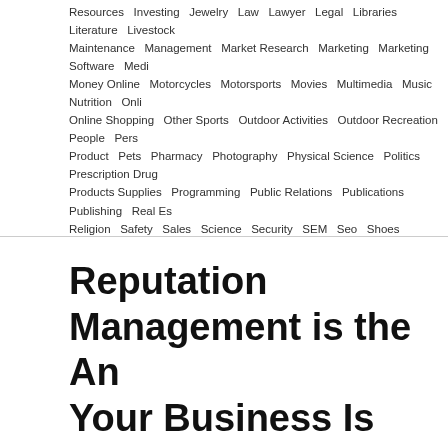Resources  Investing  Jewelry  Law  Lawyer  Legal  Libraries  Literature  Livestock  Maintenance  Management  Market Research  Marketing  Marketing Software  Medi  Money Online  Motorcycles  Motorsports  Movies  Multimedia  Music  Nutrition  Onli  Online Shopping  Other Sports  Outdoor Activities  Outdoor Recreation  People  Pers  Product  Pets  Pharmacy  Photography  Physical Science  Politics  Prescription Drug  Products Supplies  Programming  Public Relations  Publications  Publishing  Real Es  Religion  Safety  Sales  Science  Security  SEM  Seo  Shoes  Shopping  Society  So  Tattoo  Team sport  Technology  Telecommunication  Telemarketing  Tennis  Toys  Tr  International  Travel US Canada  Travelling  Vacation  Watches  Water Sports  Web D  Weightloss  Women Health
Reputation Management is the An Your Business Is Perceived
February 25th, 2022
Is it true that you are keen on finding out about dealing with your standing searching for accommodating and solid data? Indeed, this article will ens ideas. It will assist you with sorting out some way to more readily deal wit
Posting data via online media locales is essential to your business' standi times each week at any rate to actually run an advertising effort. Assimi